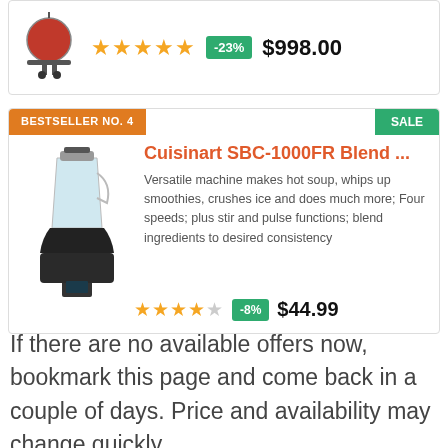[Figure (other): Partially visible product card showing a red grill/BBQ product with 5 gold stars, -23% discount badge, and price $998.00]
BESTSELLER NO. 4
SALE
[Figure (photo): Cuisinart SBC-1000FR blender product image]
Cuisinart SBC-1000FR Blend ...
Versatile machine makes hot soup, whips up smoothies, crushes ice and does much more; Four speeds; plus stir and pulse functions; blend ingredients to desired consistency
4 stars out of 5, -8%, $44.99
If there are no available offers now, bookmark this page and come back in a couple of days. Price and availability may change quickly.